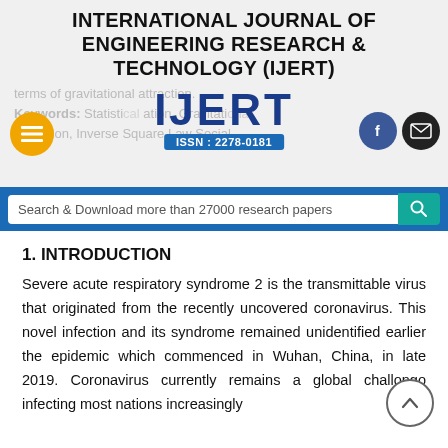INTERNATIONAL JOURNAL OF ENGINEERING RESEARCH & TECHNOLOGY (IJERT)
[Figure (logo): IJERT logo with ISSN: 2278-0181, navigation hamburger menu, Facebook and email social icons, watermark text about gravitational attraction keywords]
Search & Download more than 27000 research papers
1. INTRODUCTION
Severe acute respiratory syndrome 2 is the transmittable virus that originated from the recently uncovered coronavirus. This novel infection and its syndrome remained unidentified earlier the epidemic which commenced in Wuhan, China, in late 2019. Coronavirus currently remains a global challongo infecting most nations increasingly